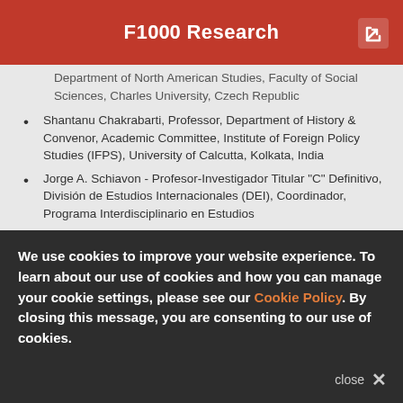F1000Research
Department of North American Studies, Faculty of Social Sciences, Charles University, Czech Republic
Shantanu Chakrabarti, Professor, Department of History & Convenor, Academic Committee, Institute of Foreign Policy Studies (IFPS), University of Calcutta, Kolkata, India
Jorge A. Schiavon - Profesor-Investigador Titular "C" Definitivo, División de Estudios Internacionales (DEI), Coordinador, Programa Interdisciplinario en Estudios
We use cookies to improve your website experience. To learn about our use of cookies and how you can manage your cookie settings, please see our Cookie Policy. By closing this message, you are consenting to our use of cookies.
close ×